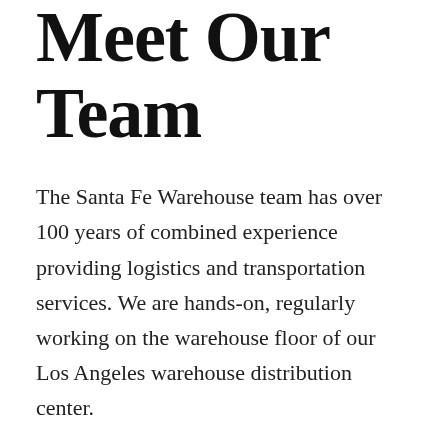Meet Our Team
The Santa Fe Warehouse team has over 100 years of combined experience providing logistics and transportation services. We are hands-on, regularly working on the warehouse floor of our Los Angeles warehouse distribution center.
Barry Oppenheim grew up in the apparel business in New York City with Sweet-Orr in 1980 and migrated to Warehousing and Logistics in Los Angeles in 1990. Barry can generally be found in one of our facilities, on his way to / from New York, or planning the next